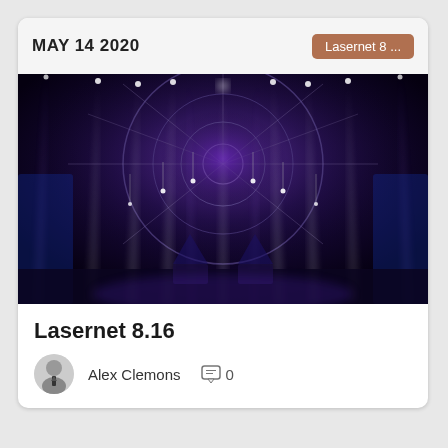MAY 14 2020
Lasernet 8 ...
[Figure (photo): Interior of a large domed venue with dramatic purple and blue stage lighting. Multiple bright beams of white/purple light radiate downward from a circular truss structure at the ceiling. Stage elements and speakers visible at the bottom.]
Lasernet 8.16
Alex Clemons
0